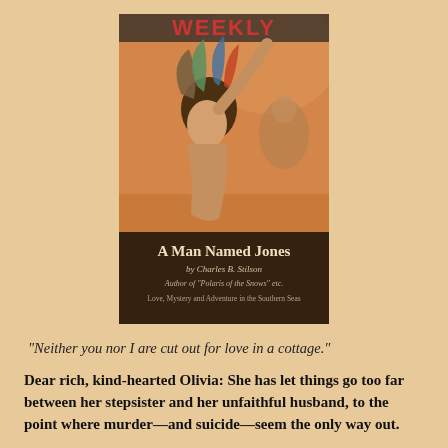[Figure (illustration): Magazine cover showing an artistic illustration of a woman with feathers in her hair reaching upward, with other figures in the background. Text on cover reads: 'WEEKLY', 'A Man Named Jones', 'by Charles B. Stilson', 'Author of "Polaris of the Snows" etc.', 'Love, Mystery and Adventure in the Southern Seas']
"Neither you nor I are cut out for love in a cottage."
Dear rich, kind-hearted Olivia: She has let things go too far between her stepsister and her unfaithful husband, to the point where murder—and suicide—seem the only way out.